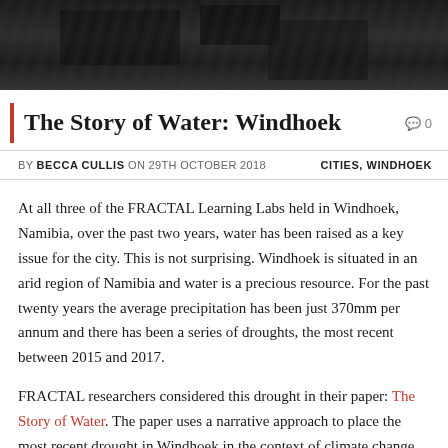[Figure (photo): Dark overhead photo of rocky or stone surface, partially visible at the top of the page.]
The Story of Water: Windhoek
0 comments
BY BECCA CULLIS ON 29TH OCTOBER 2018   CITIES, WINDHOEK
At all three of the FRACTAL Learning Labs held in Windhoek, Namibia, over the past two years, water has been raised as a key issue for the city. This is not surprising. Windhoek is situated in an arid region of Namibia and water is a precious resource. For the past twenty years the average precipitation has been just 370mm per annum and there has been a series of droughts, the most recent between 2015 and 2017.
FRACTAL researchers considered this drought in their paper: The Story of Water. The paper uses a narrative approach to place the most recent drought in Windhoek in the context of climate change